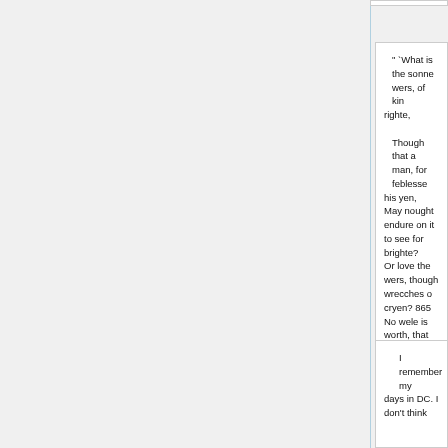" `What is the sonne wers, of kin righte,

Though that a man, for feblesse his yen,
May nought endure on it to see for brighte?
Or love the wers, though wrecches o cryen? 865
No wele is worth, that may no sorwe dryen.
And for-thy, who that hath an heed of verre,
Fro cast of stones war him in the we
https://www.gutenberg.org/files/257/257-h/257-h.htm
I remember my days in DC. I don't think